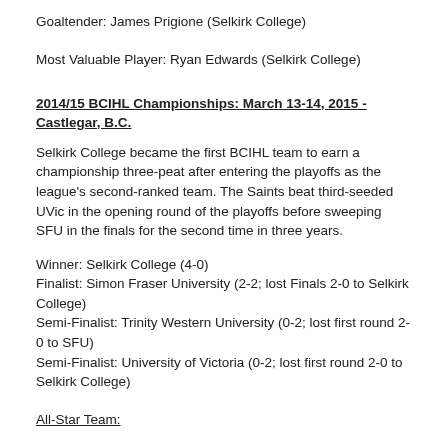Goaltender: James Prigione (Selkirk College)
Most Valuable Player: Ryan Edwards (Selkirk College)
2014/15 BCIHL Championships: March 13-14, 2015 - Castlegar, B.C.
Selkirk College became the first BCIHL team to earn a championship three-peat after entering the playoffs as the league's second-ranked team. The Saints beat third-seeded UVic in the opening round of the playoffs before sweeping SFU in the finals for the second time in three years.
Winner: Selkirk College (4-0)
Finalist: Simon Fraser University (2-2; lost Finals 2-0 to Selkirk College)
Semi-Finalist: Trinity Western University (0-2; lost first round 2-0 to SFU)
Semi-Finalist: University of Victoria (0-2; lost first round 2-0 to Selkirk College)
All-Star Team:
Forwards: Ryan Edwards (Selkirk), Logan Proulx (Selkirk), Adam Callegari (SFU)